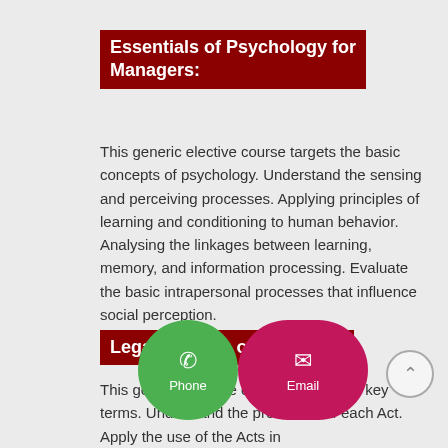Essentials of Psychology for Managers:
This generic elective course targets the basic concepts of psychology. Understand the sensing and perceiving processes. Applying principles of learning and conditioning to human behavior. Analysing the linkages between learning, memory, and information processing. Evaluate the basic intrapersonal processes that influence social perception.
Legal Aspects of Business:
This generic elective course targets the key terms. Understand the provisions of each Act. Apply the use of the Acts in